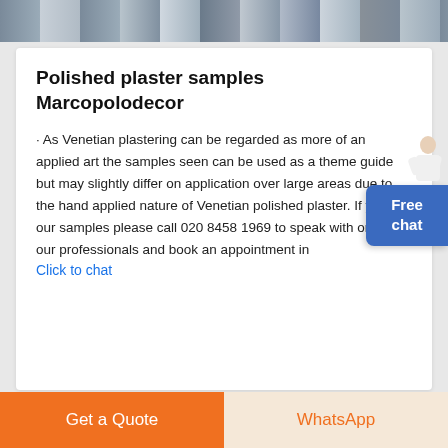[Figure (photo): Horizontal photo strip showing exterior building/scaffolding scene at the top of the page]
Polished plaster samples Marcopolodecor
As Venetian plastering can be regarded as more of an applied art the samples seen can be used as a theme guide but may slightly differ on application over large areas due to the hand applied nature of Venetian polished plaster. If you like our samples please call 020 8458 1969 to speak with one of our professionals and book an appointment in
Click to chat
[Figure (illustration): Free chat widget button with person figure, blue rounded rectangle showing 'Free chat']
Get a Quote
WhatsApp